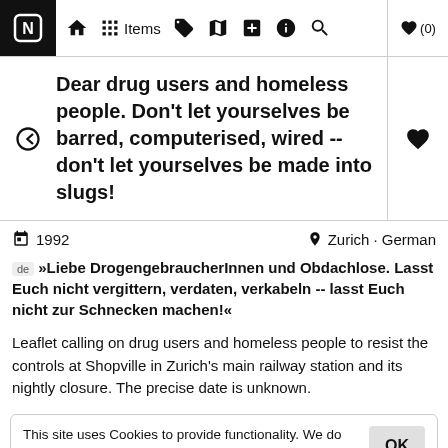N  Home  Items  [tag] [map] [plus] [info] [search]  ♥(0)
Dear drug users and homeless people. Don't let yourselves be barred, computerised, wired -- don't let yourselves be made into slugs!
1992  Zurich · German
de »Liebe DrogengebraucherInnen und Obdachlose. Lasst Euch nicht vergittern, verdaten, verkabeln -- lasst Euch nicht zur Schnecken machen!«
Leaflet calling on drug users and homeless people to resist the controls at Shopville in Zurich's main railway station and its nightly closure. The precise date is unknown.
This site uses Cookies to provide functionality. We do not track you, however sometimes embeded third-party objects (like Youtube) may collect information. Learn more  OK
Repression and anti-repression in Zurich (late 1980s to mid-199...